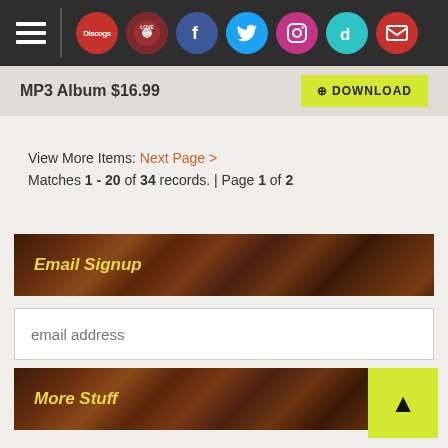Navigation bar with hamburger menu and social icons
MP3 Album $16.99  DOWNLOAD
View More Items: Next Page >
Matches 1 - 20 of 34 records. | Page 1 of 2
Email Signup
email address
GO
More Stuff